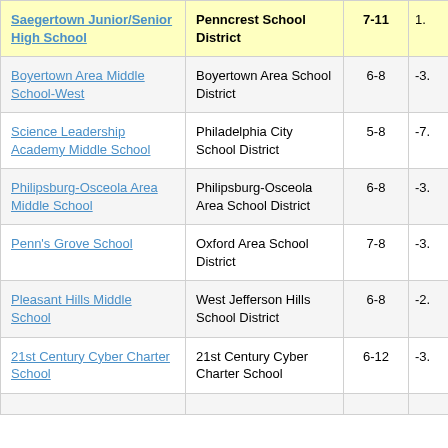| School | District | Grades | Score |
| --- | --- | --- | --- |
| Saegertown Junior/Senior High School | Penncrest School District | 7-11 | 1. |
| Boyertown Area Middle School-West | Boyertown Area School District | 6-8 | -3. |
| Science Leadership Academy Middle School | Philadelphia City School District | 5-8 | -7. |
| Philipsburg-Osceola Area Middle School | Philipsburg-Osceola Area School District | 6-8 | -3. |
| Penn's Grove School | Oxford Area School District | 7-8 | -3. |
| Pleasant Hills Middle School | West Jefferson Hills School District | 6-8 | -2. |
| 21st Century Cyber Charter School | 21st Century Cyber Charter School | 6-12 | -3. |